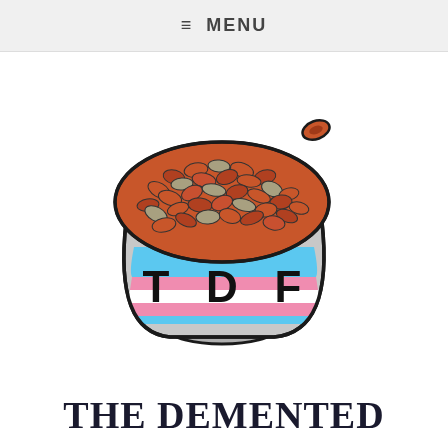≡ MENU
[Figure (illustration): Hand-drawn illustration of a bowl filled with brown/orange beans or lentils. The bowl is gray/stone colored with horizontal stripes in blue, pink, white, and blue (resembling a trans pride flag). The letters T, D, F are written in bold black on the bowl. One bean is flying out to the upper right of the bowl.]
THE DEMENTED